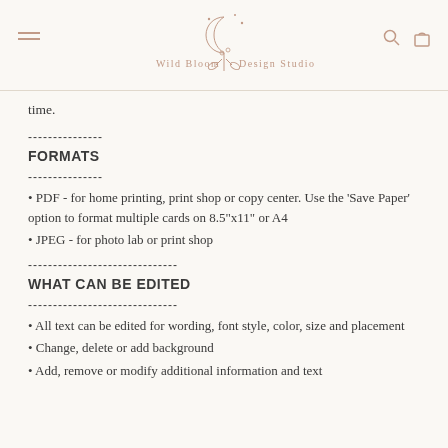Wild Bloom Design Studio
time.
---------------
FORMATS
---------------
• PDF - for home printing, print shop or copy center. Use the 'Save Paper' option to format multiple cards on 8.5"x11" or A4
• JPEG - for photo lab or print shop
------------------------------
WHAT CAN BE EDITED
------------------------------
• All text can be edited for wording, font style, color, size and placement
• Change, delete or add background
• Add, remove or modify additional information and text